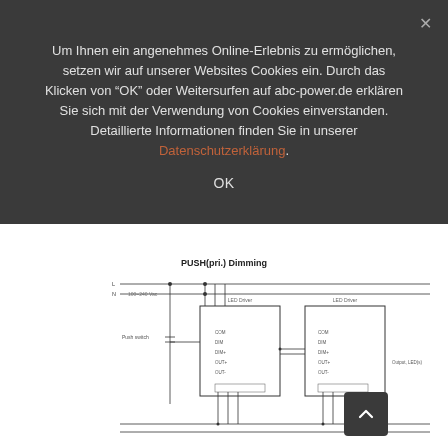Um Ihnen ein angenehmes Online-Erlebnis zu ermöglichen, setzen wir auf unserer Websites Cookies ein. Durch das Klicken von "OK" oder Weitersurfen auf abc-power.de erklären Sie sich mit der Verwendung von Cookies einverstanden. Detaillierte Informationen finden Sie in unserer Datenschutzerklärung.
OK
[Figure (schematic): PUSH(pri.) Dimming wiring diagram showing two LED driver units connected in a daisy-chain configuration with push-button dimming control on the primary side. Components include push switch, two converter boxes labeled with terminals, and connection lines.]